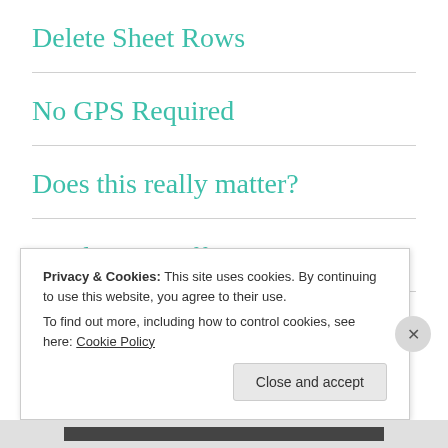Delete Sheet Rows
No GPS Required
Does this really matter?
Drink your coffee.
Privacy & Cookies: This site uses cookies. By continuing to use this website, you agree to their use.
To find out more, including how to control cookies, see here: Cookie Policy
Close and accept